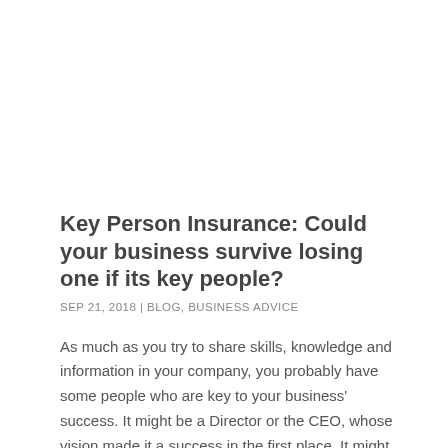Key Person Insurance: Could your business survive losing one if its key people?
SEP 21, 2018  |  BLOG, BUSINESS ADVICE
As much as you try to share skills, knowledge and information in your company, you probably have some people who are key to your business' success. It might be a Director or the CEO, whose vision made it a success in the first place. It might be your star salesperson,...